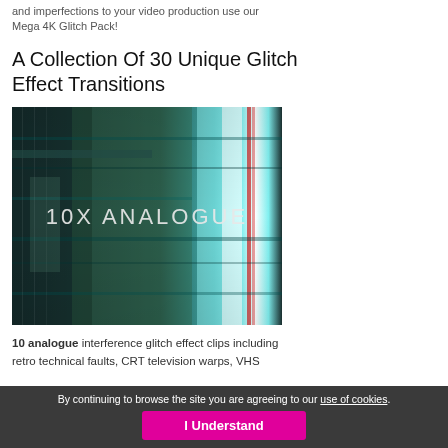and imperfections to your video production use our Mega 4K Glitch Pack!
A Collection Of 30 Unique Glitch Effect Transitions
[Figure (photo): Screenshot of a glitch video effect showing analogue interference with teal/cyan color distortion and the text '10X ANALOGUE' in the center]
10 analogue interference glitch effect clips including retro technical faults, CRT television warps, VHS
By continuing to browse the site you are agreeing to our use of cookies. I Understand